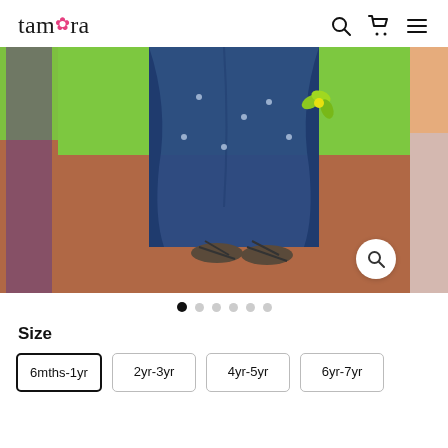[Figure (logo): Tamara brand logo with pink flower accent]
[Figure (photo): Product photo of blue Indian garment (dhoti pants) worn by child standing on terracotta platform with green grass background. Child wears sandals. Yellow-green flower accessory visible. Partial side images visible on left and right edges. Magnify/zoom button in bottom right corner of main image.]
[Figure (other): Carousel navigation dots — 6 dots, first one filled/active, rest empty/grey]
Size
6mths-1yr
2yr-3yr
4yr-5yr
6yr-7yr